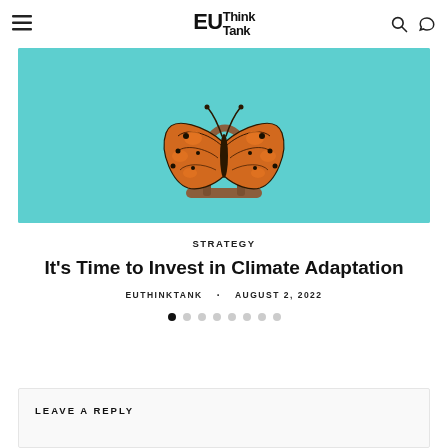EU Think Tank
[Figure (illustration): A butterfly with orange and black spotted wings displayed in a wooden anatomical lung display stand, against a teal/cyan background. The butterfly wings mimic the shape of human lungs.]
STRATEGY
It's Time to Invest in Climate Adaptation
EUTHINKTANK · AUGUST 2, 2022
LEAVE A REPLY